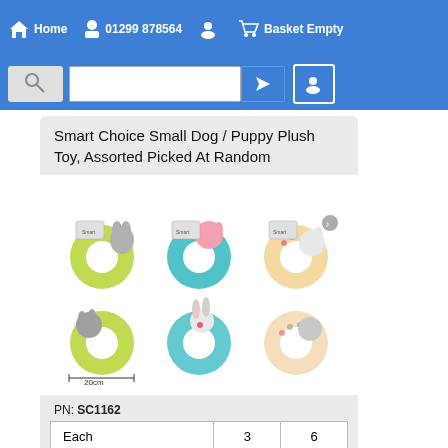Home | 01299 878564 | [Account] | Basket Empty
Smart Choice Small Dog / Puppy Plush Toy, Assorted Picked At Random
[Figure (photo): Six assorted plush dog/puppy ring toys arranged in two rows of three, each with animal characters attached to a circular ring. A measurement indicator showing 20cm is visible at the bottom.]
PN: SC1162
| Each | 3 | 6 |
| --- | --- | --- |